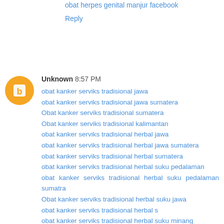obat herpes genital manjur facebook
Reply
Unknown 8:57 PM
obat kanker serviks tradisional jawa
obat kanker serviks tradisional jawa sumatera
Obat kanker serviks tradisional sumatera
Obat kanker serviks tradisional kalimantan
obat kanker serviks tradisional herbal jawa
obat kanker serviks tradisional herbal jawa sumatera
obat kanker serviks tradisional herbal sumatera
obat kanker serviks tradisional herbal suku pedalaman
obat kanker serviks tradisional herbal suku pedalaman sumatra
Obat kanker serviks tradisional herbal suku jawa
obat kanker serviks tradisional herbal s
obat kanker serviks tradisional herbal suku minang
obat kanker serviks tradisional herbal suku sunda
Obat kanker serviks tradisional herbal suku irian
obat kanker serviks tradisional herbal suku dayak